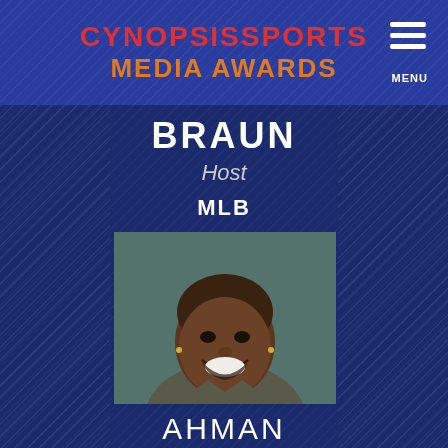CYNOPSISSPORTS MEDIA AWARDS
BRAUN
Host
MLB
[Figure (photo): Headshot of a smiling man in a suit and tie, with short hair and small earrings]
AHMAN